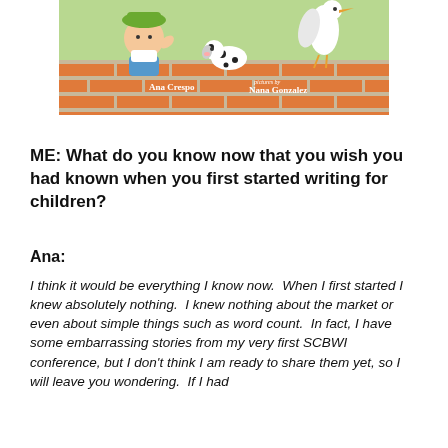[Figure (illustration): Book cover illustration showing cartoon characters (a boy with a green hat, a dalmatian dog, and a white bird/stork) peeking over a brick wall. Authors listed: Ana Crespo and pictures by Nana Gonzalez.]
ME: What do you know now that you wish you had known when you first started writing for children?
Ana:
I think it would be everything I know now.  When I first started I knew absolutely nothing.  I knew nothing about the market or even about simple things such as word count.  In fact, I have some embarrassing stories from my very first SCBWI conference, but I don't think I am ready to share them yet, so I will leave you wondering.  If I had